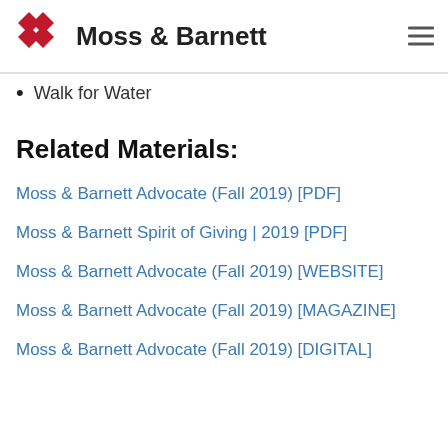Moss & Barnett
Walk for Water
Related Materials:
Moss & Barnett Advocate (Fall 2019) [PDF]
Moss & Barnett Spirit of Giving | 2019 [PDF]
Moss & Barnett Advocate (Fall 2019) [WEBSITE]
Moss & Barnett Advocate (Fall 2019) [MAGAZINE]
Moss & Barnett Advocate (Fall 2019) [DIGITAL]